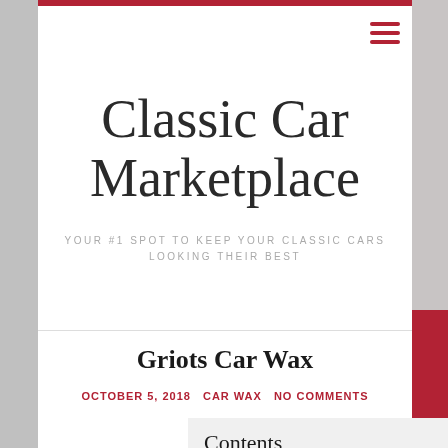Classic Car Marketplace
YOUR #1 SPOT TO KEEP YOUR CLASSIC CARS LOOKING THEIR BEST
Griots Car Wax
OCTOBER 5, 2018   CAR WAX   NO COMMENTS
Contents
1. 35 oz.: waxes
2. Automotive paint protection